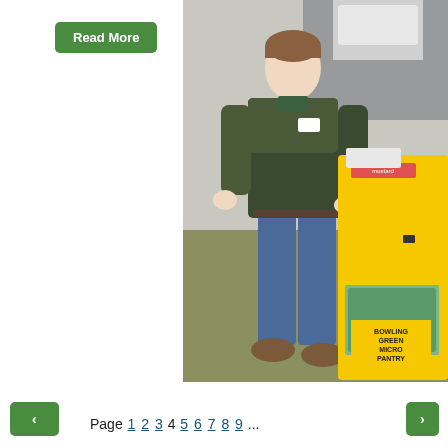[Figure (photo): A young person standing next to a yellow Bowling Green Micro Pantry food box outdoors, wearing a dark green jacket and jeans.]
Read More
Page 1 2 3 4 5 6 7 8 9 ...
<
>